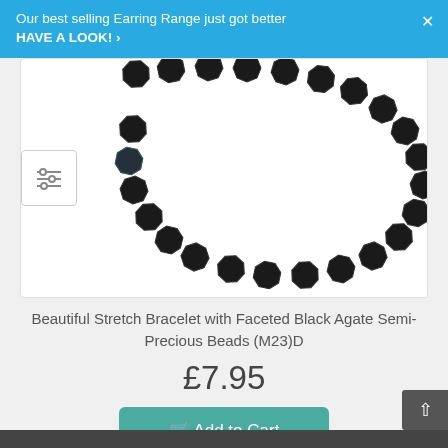Our best selling Earring Range just got better
HAVE A LOOK! ›
[Figure (photo): Photograph of a stretch bracelet made with faceted black agate semi-precious beads arranged in a U-curve on a white background]
Beautiful Stretch Bracelet with Faceted Black Agate Semi-Precious Beads (M23)D
£7.95
Add to Cart